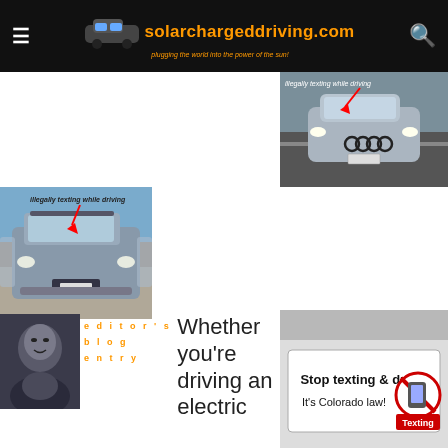solarchargeddriving.com — plugging the world into the power of the sun!
[Figure (photo): Photo of a car in traffic with annotation 'illegally texting while driving' and a red arrow pointing to the driver]
[Figure (photo): Photo of a SUV in a parking lot with annotation 'illegally texting while driving' and a red arrow]
[Figure (photo): Editor's blog entry author photo — man in black and white]
editor's blog entry
Whether you're driving an electric
[Figure (photo): Photo of a bumper sticker: 'Stop texting & drive! It's Colorado law!' with a no-texting symbol]